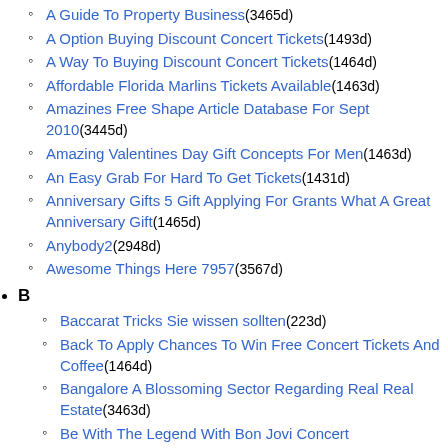A Guide To Property Business(3465d)
A Option Buying Discount Concert Tickets(1493d)
A Way To Buying Discount Concert Tickets(1464d)
Affordable Florida Marlins Tickets Available(1463d)
Amazines Free Shape Article Database For Sept 2010(3445d)
Amazing Valentines Day Gift Concepts For Men(1463d)
An Easy Grab For Hard To Get Tickets(1431d)
Anniversary Gifts 5 Gift Applying For Grants What A Great Anniversary Gift(1465d)
Anybody2(2948d)
Awesome Things Here 7957(3567d)
B
Baccarat Tricks Sie wissen sollten(223d)
Back To Apply Chances To Win Free Concert Tickets And Coffee(1464d)
Bangalore A Blossoming Sector Regarding Real Real Estate(3463d)
Be With The Legend With Bon Jovi Concert Tickets(1460d)
Benefits Of Real House Teams(3468d)